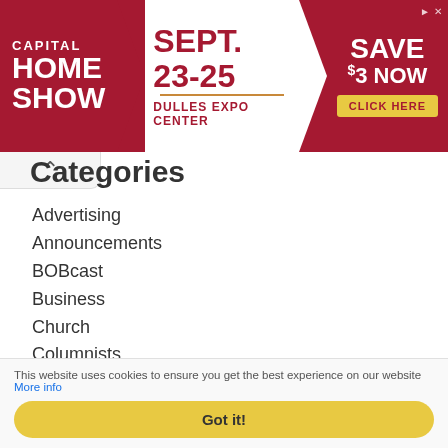[Figure (other): Banner advertisement for Capital Home Show, Sept. 23-25, Dulles Expo Center. Save $3 Now. Click Here.]
Categories
Advertising
Announcements
BOBcast
Business
Church
Columnists
Districts
FAB Guide
Farming
Football
Gallery
Gallery
Gallery
This website uses cookies to ensure you get the best experience on our website More info
Got it!